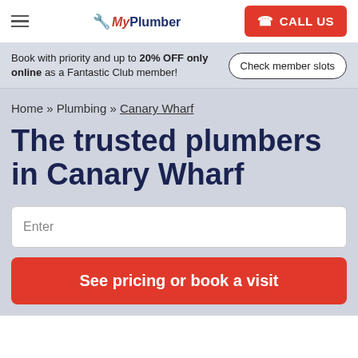MyPlumber — CALL US
Book with priority and up to 20% OFF only online as a Fantastic Club member!
Check member slots
Home » Plumbing » Canary Wharf
The trusted plumbers in Canary Wharf
Enter
See pricing or book a visit